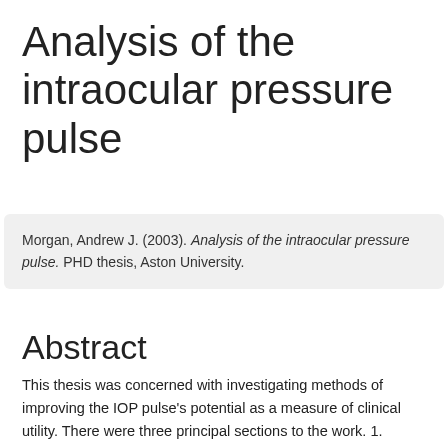Analysis of the intraocular pressure pulse
Morgan, Andrew J. (2003). Analysis of the intraocular pressure pulse. PHD thesis, Aston University.
Abstract
This thesis was concerned with investigating methods of improving the IOP pulse's potential as a measure of clinical utility. There were three principal sections to the work. 1. Optimisation of measurement and analysis of the IOP pulse. A literature review, covering the years 1960 – 2002 and other relevant scientific publications, provided a knowledge base on the IOP pulse. Initial studies investigated suitable